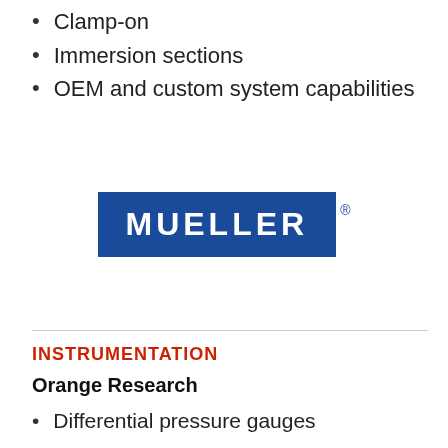Clamp-on
Immersion sections
OEM and custom system capabilities
[Figure (logo): Mueller logo: white text 'MUELLER' on dark blue rectangle with registered trademark symbol]
INSTRUMENTATION
Orange Research
Differential pressure gauges